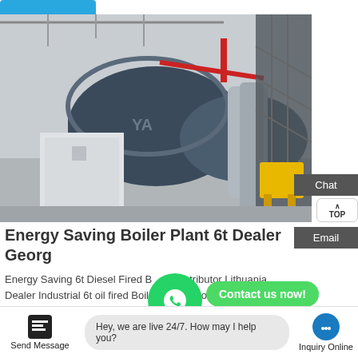[Figure (photo): Industrial boiler plant installation showing a large blue cylindrical boiler with insulated piping, a white electrical cabinet/control panel in front, yellow trolley equipment to the right, and industrial ceiling structure visible in background.]
Energy Saving Boiler Plant 6t Dealer Georgia
Energy Saving 6t Diesel Fired Boiler Distributor Lithuania Dealer Industrial 6t oil fired Boiler Plant Georgia light oil fired boiler Kazakhstan h... CACP Uzbekistan...
Send Message   Hey, we are live 24/7. How may I help you?   Inquiry Online